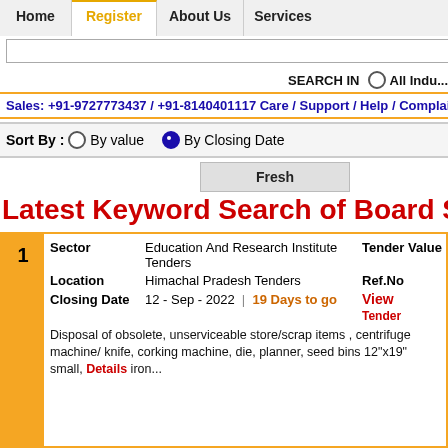Home | Register | About Us | Services
SEARCH IN All Indu...
Sales: +91-9727773437 / +91-8140401117 Care / Support / Help / Complain : -
Sort By : By value  By Closing Date
Fresh
Latest Keyword Search of Board Scrap
| # | Sector | Tender Value | Location | Ref.No | Closing Date |  |
| --- | --- | --- | --- | --- | --- | --- |
| 1 | Education And Research Institute Tenders | Tender Value | Himachal Pradesh Tenders | Ref.No | 12 - Sep - 2022 | 19 Days to go | View Tender Details |
|  | Disposal of obsolete, unserviceable store/scrap items , centrifuge machine/ knife, corking machine, die, planner, seed bins 12"x19" small, iron... |  |  |  |  |  |